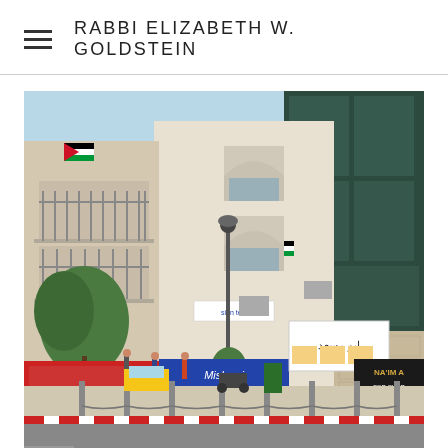RABBI ELIZABETH W. GOLDSTEIN
[Figure (photo): Street scene in a Middle Eastern city showing multi-story buildings with balconies, Arabic signage including 'NA'IM A FOR CURR' visible on the right, shops at street level, Palestinian flags visible on upper floors, green trees, street bollards with chains, people walking on the sidewalk, and a red and white curbed road.]